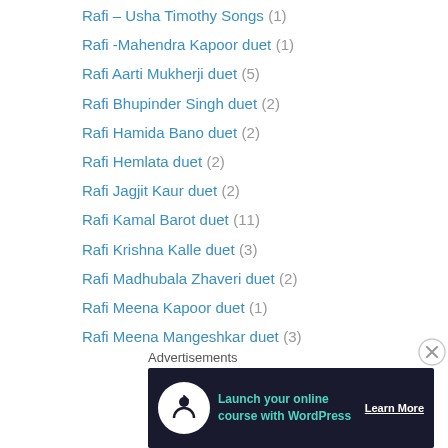Rafi – Usha Timothy Songs (1)
Rafi -Mahendra Kapoor duet (1)
Rafi Aarti Mukherji duet (5)
Rafi Bhupinder Singh duet (2)
Rafi Hamida Bano duet (2)
Rafi Hemlata duet (2)
Rafi Jagjit Kaur duet (2)
Rafi Kamal Barot duet (11)
Rafi Krishna Kalle duet (3)
Rafi Madhubala Zhaveri duet (2)
Rafi Meena Kapoor duet (1)
Rafi Meena Mangeshkar duet (3)
Rafi Mubarak Begam duet (6)
Rafi S Balbir duet (11)
Rafi Sharda duet (5)
Rafi Sudha Malhotra duet (7)
Advertisements
[Figure (infographic): Advertisement banner: dark navy background with circular white icon showing a person with raised hand, teal text 'Launch your online course with WordPress', and white 'Learn More' button with underline.]